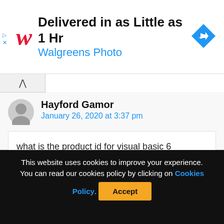[Figure (illustration): Walgreens Photo ad banner with italic W logo in red, headline 'Delivered in as Little as 1 Hr', subline 'Walgreens Photo', and a blue diamond navigation icon on the right]
Hayford Gamor
January 26, 2020 at 3:37 pm
what is the product id for visual basic 6
Reply
This website uses cookies to improve your experience. You can read our cookies policy by clicking on Cookies Policy. Accept